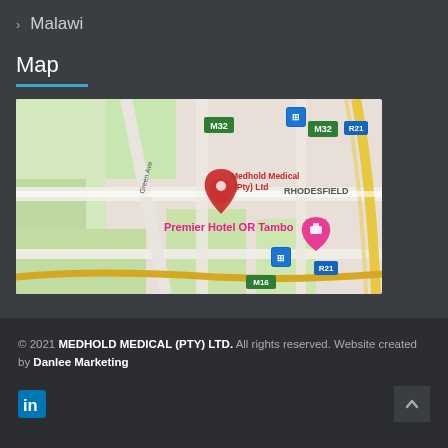> Malawi
Map
[Figure (map): Google Maps screenshot showing location of Medhold Medical (Pty) Ltd in Rhodesfield area, with roads M32, R21, M16, Green Ave visible, and Premier Hotel OR Tambo nearby.]
© 2021 MEDHOLD MEDICAL (PTY) LTD. All rights reserved. Website created by Danlee Marketing